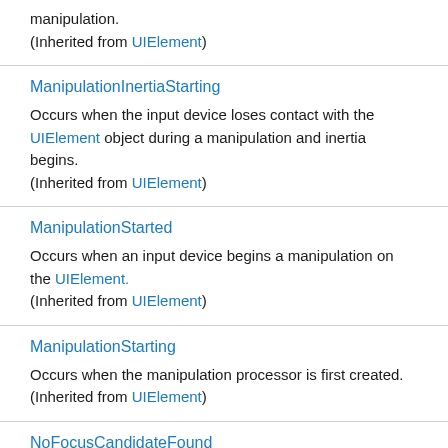manipulation.
(Inherited from UIElement)
ManipulationInertiaStarting
Occurs when the input device loses contact with the UIElement object during a manipulation and inertia begins.
(Inherited from UIElement)
ManipulationStarted
Occurs when an input device begins a manipulation on the UIElement.
(Inherited from UIElement)
ManipulationStarting
Occurs when the manipulation processor is first created.
(Inherited from UIElement)
NoFocusCandidateFound
Occurs when a user attempts to move focus (via tab or directional arrows), but focus doesn't move because no focus candidate is found in the direction of movement.